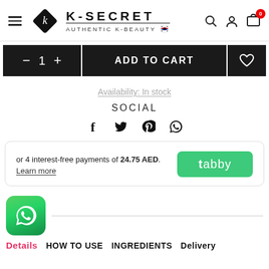[Figure (logo): K-Secret Authentic K-Beauty logo with diamond icon, nav icons (search, user, cart with badge 0)]
[Figure (other): Add to cart bar: quantity selector showing 1 with minus/plus, ADD TO CART button, wishlist heart button]
Availability: In stock
SOCIAL
[Figure (other): Social share icons: Facebook, Twitter, Pinterest, WhatsApp]
or 4 interest-free payments of 24.75 AED. Learn more — tabby logo
[Figure (logo): WhatsApp icon rounded square green]
Details  HOW TO USE  INGREDIENTS  Delivery